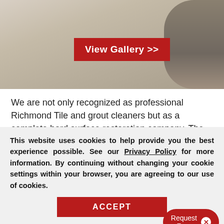[Figure (photo): Tile and grout bathroom/floor surface photo with a dark red 'View Gallery >>' button overlay]
We are not only recognized as professional Richmond Tile and grout cleaners but as a complete hard surface restoration company. The following is a list of the services we offer in Richmond, Texas.
Request a Free
This website uses cookies to help provide you the best experience possible. See our Privacy Policy for more information. By continuing without changing your cookie settings within your browser, you are agreeing to our use of cookies.
ACCEPT